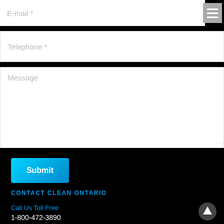E-mail *
Telephone *
Message
Submit
CONTACT CLEAN ONTARIO
Call Us Toll Free
1-800-472-3890